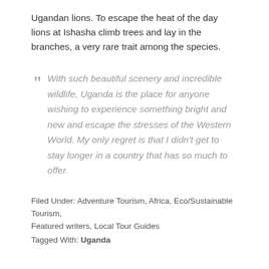Ugandan lions. To escape the heat of the day lions at Ishasha climb trees and lay in the branches, a very rare trait among the species.
" With such beautiful scenery and incredible wildlife, Uganda is the place for anyone wishing to experience something bright and new and escape the stresses of the Western World. My only regret is that I didn't get to stay longer in a country that has so much to offer.
Filed Under: Adventure Tourism, Africa, Eco/Sustainable Tourism, Featured writers, Local Tour Guides
Tagged With: Uganda